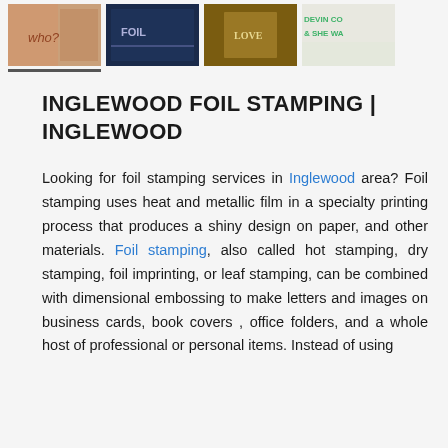[Figure (photo): Row of four product thumbnail images showing foil stamping examples. First image has an underline indicator (selected state). Images show various foil stamped items including cards and book covers.]
INGLEWOOD FOIL STAMPING | INGLEWOOD
Looking for foil stamping services in Inglewood area? Foil stamping uses heat and metallic film in a specialty printing process that produces a shiny design on paper, and other materials. Foil stamping, also called hot stamping, dry stamping, foil imprinting, or leaf stamping, can be combined with dimensional embossing to make letters and images on business cards, book covers , office folders, and a whole host of professional or personal items. Instead of using